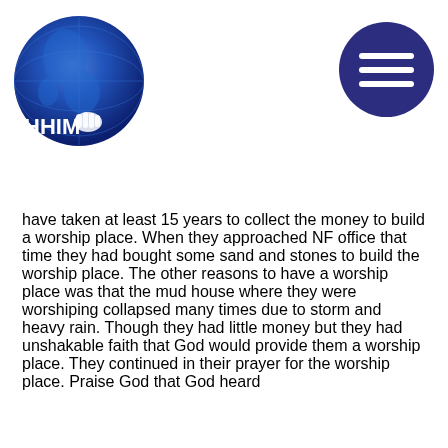[Figure (logo): HHIM globe logo — blue circular globe with white text 'HHIM' at bottom left]
[Figure (other): Dark navy blue circular hamburger menu button with three white horizontal bars]
have taken at least 15 years to collect the money to build a worship place. When they approached NF office that time they had bought some sand and stones to build the worship place. The other reasons to have a worship place was that the mud house where they were worshiping collapsed many times due to storm and heavy rain. Though they had little money but they had unshakable faith that God would provide them a worship place. They continued in their prayer for the worship place. Praise God that God heard